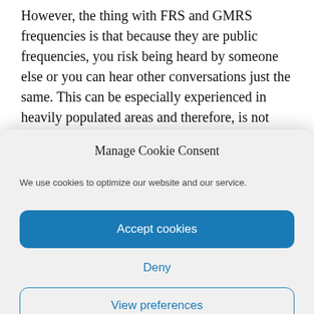However, the thing with FRS and GMRS frequencies is that because they are public frequencies, you risk being heard by someone else or you can hear other conversations just the same. This can be especially experienced in heavily populated areas and therefore, is not
Manage Cookie Consent
We use cookies to optimize our website and our service.
Accept cookies
Deny
View preferences